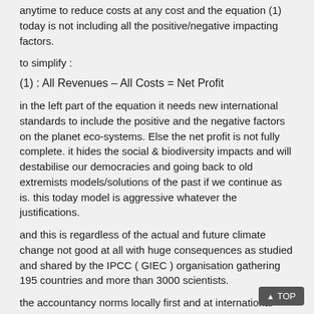anytime to reduce costs at any cost and the equation (1) today is not including all the positive/negative impacting factors.
to simplify :
in the left part of the equation it needs new international standards to include the positive and the negative factors on the planet eco-systems. Else the net profit is not fully complete. it hides the social & biodiversity impacts and will destabilise our democracies and going back to old extremists models/solutions of the past if we continue as is. this today model is aggressive whatever the justifications.
and this is regardless of the actual and future climate change not good at all with huge consequences as studied and shared by the IPCC ( GIEC ) organisation gathering 195 countries and more than 3000 scientists.
the accountancy norms locally first and at international level IFRS ( better ) need to include and change the equation (1) to equation (2) below :